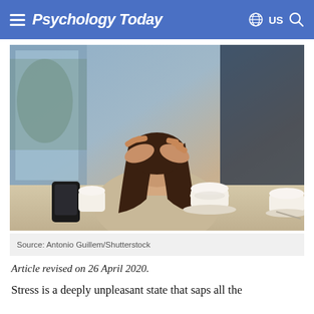Psychology Today | US
[Figure (photo): Woman sitting at a table in a cafe, head in hands, appearing stressed. Two coffee cups visible on the table. Blurred background with windows.]
Source: Antonio Guillem/Shutterstock
Article revised on 26 April 2020.
Stress is a deeply unpleasant state that saps all the